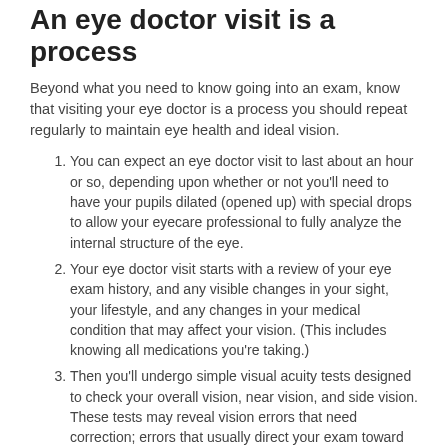An eye doctor visit is a process
Beyond what you need to know going into an exam, know that visiting your eye doctor is a process you should repeat regularly to maintain eye health and ideal vision.
You can expect an eye doctor visit to last about an hour or so, depending upon whether or not you'll need to have your pupils dilated (opened up) with special drops to allow your eyecare professional to fully analyze the internal structure of the eye.
Your eye doctor visit starts with a review of your eye exam history, and any visible changes in your sight, your lifestyle, and any changes in your medical condition that may affect your vision. (This includes knowing all medications you're taking.)
Then you'll undergo simple visual acuity tests designed to check your overall vision, near vision, and side vision. These tests may reveal vision errors that need correction; errors that usually direct your exam toward special equipment used to accurately determine your prescription.
But your eye exam goes far more into the...